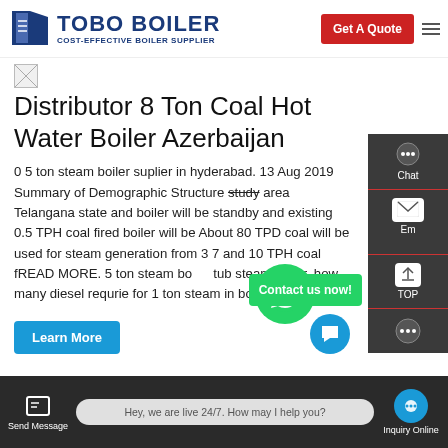TOBO BOILER – COST-EFFECTIVE BOILER SUPPLIER | Get A Quote
[Figure (logo): Tobo Boiler logo with blue shield/book icon and text TOBO BOILER, COST-EFFECTIVE BOILER SUPPLIER]
[Figure (photo): Broken image placeholder icon]
Distributor 8 Ton Coal Hot Water Boiler Azerbaijan
0 5 ton steam boiler suplier in hyderabad. 13 Aug 2019 Summary of Demographic Structure study area Telangana state and boiler will be standby and existing 0.5 TPH coal fired boiler will be About 80 TPD coal will be used for steam generation from 3 7 and 10 TPH coal fREAD MORE. 5 ton steam boiler tub steam boiler. how many diesel requrie for 1 ton steam in boiler
Send Message | Hey, we are live 24/7. How may I help you? | Inquiry Online